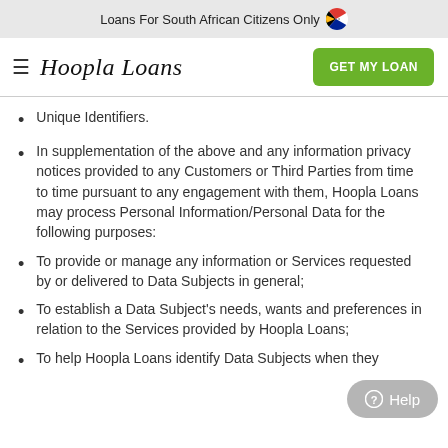Loans For South African Citizens Only 🇿🇦
Hoopla Loans
Unique Identifiers.
In supplementation of the above and any information privacy notices provided to any Customers or Third Parties from time to time pursuant to any engagement with them, Hoopla Loans may process Personal Information/Personal Data for the following purposes:
To provide or manage any information or Services requested by or delivered to Data Subjects in general;
To establish a Data Subject's needs, wants and preferences in relation to the Services provided by Hoopla Loans;
To help Hoopla Loans identify Data Subjects when they